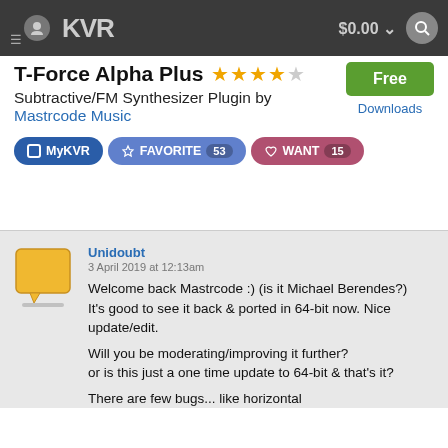KVR  $0.00
T-Force Alpha Plus ★★★★☆
Subtractive/FM Synthesizer Plugin by Mastrcode Music
Free Downloads
MyKVR  FAVORITE 53  WANT 15
Unidoubt
3 April 2019 at 12:13am
Welcome back Mastrcode :) (is it Michael Berendes?)
It's good to see it back & ported in 64-bit now. Nice update/edit.

Will you be moderating/improving it further?
or is this just a one time update to 64-bit & that's it?

There are few bugs... like horizontal